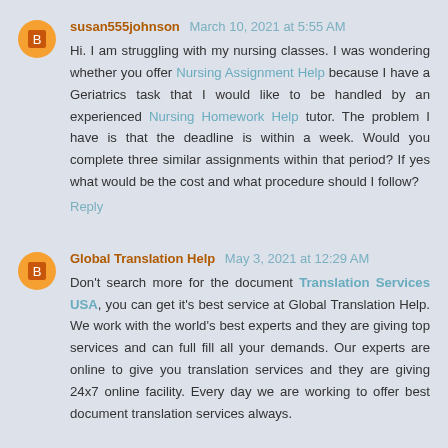susan555johnson March 10, 2021 at 5:55 AM
Hi. I am struggling with my nursing classes. I was wondering whether you offer Nursing Assignment Help because I have a Geriatrics task that I would like to be handled by an experienced Nursing Homework Help tutor. The problem I have is that the deadline is within a week. Would you complete three similar assignments within that period? If yes what would be the cost and what procedure should I follow?
Reply
Global Translation Help May 3, 2021 at 12:29 AM
Don't search more for the document Translation Services USA, you can get it's best service at Global Translation Help. We work with the world's best experts and they are giving top services and can full fill all your demands. Our experts are online to give you translation services and they are giving 24x7 online facility. Every day we are working to offer best document translation services always.